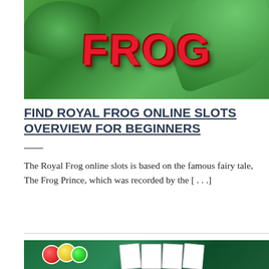[Figure (photo): Royal Frog online slot game banner with large red 3D text saying FROG on a green jungle/leafy background]
FIND ROYAL FROG ONLINE SLOTS OVERVIEW FOR BEGINNERS
The Royal Frog online slots is based on the famous fairy tale, The Frog Prince, which was recorded by the [...]
[Figure (photo): Casino chips (red, yellow, green) and playing cards spread on a green felt table surface]